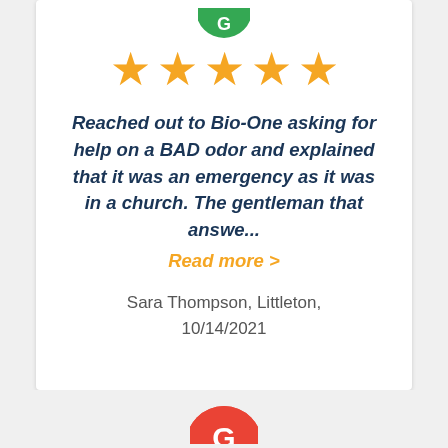[Figure (logo): Green circular Google logo (partially visible at top of card)]
★★★★★ (5 orange stars)
Reached out to Bio-One asking for help on a BAD odor and explained that it was an emergency as it was in a church. The gentleman that answe...
Read more >
Sara Thompson, Littleton, 10/14/2021
[Figure (logo): Red/green circular Google logo (partially visible at bottom)]